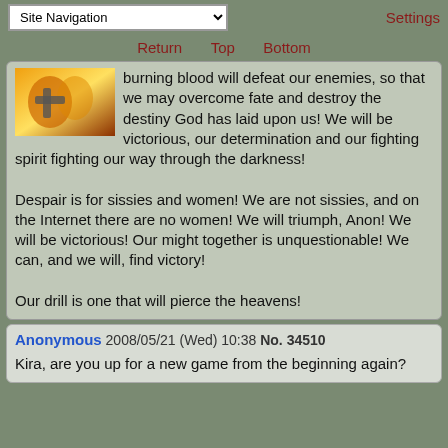Site Navigation | Settings
Return  Top  Bottom
burning blood will defeat our enemies, so that we may overcome fate and destroy the destiny God has laid upon us! We will be victorious, our determination and our fighting spirit fighting our way through the darkness!

Despair is for sissies and women! We are not sissies, and on the Internet there are no women! We will triumph, Anon! We will be victorious! Our might together is unquestionable! We can, and we will, find victory!

Our drill is one that will pierce the heavens!
Anonymous 2008/05/21 (Wed) 10:38 No. 34510
Kira, are you up for a new game from the beginning again?